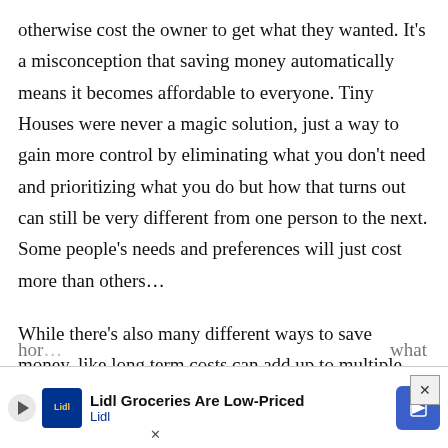otherwise cost the owner to get what they wanted. It's a misconception that saving money automatically means it becomes affordable to everyone. Tiny Houses were never a magic solution, just a way to gain more control by eliminating what you don't need and prioritizing what you do but how that turns out can still be very different from one person to the next. Some people's needs and preferences will just cost more than others…
While there's also many different ways to save money, like long term costs can add up to multiple times the purchase cost of the home. So designing a
hor … what
[Figure (other): Advertisement banner for Lidl Groceries with play button, Lidl logo, text 'Lidl Groceries Are Low-Priced' and navigation icon, with close (×) button]